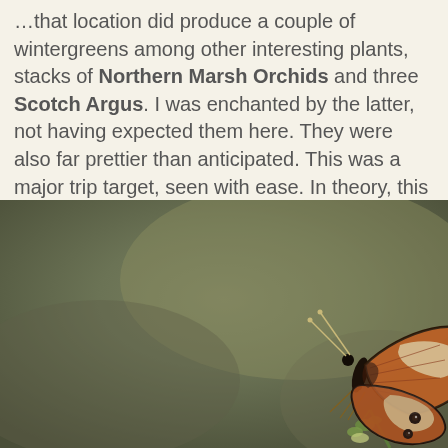…that location did produce a couple of wintergreens among other interesting plants, stacks of Northern Marsh Orchids and three Scotch Argus. I was enchanted by the latter, not having expected them here. They were also far prettier than anticipated. This was a major trip target, seen with ease. In theory, this is my final UK breeding butterfly - although I have never really counted the Mountain Ringlets that I saw early in my teens in the Lake District, as I was not 'into' butterflies back then.
[Figure (photo): Close-up photograph of a Scotch Argus butterfly perched on a plant stem, showing the underside of its wings which are dark brown/orange with white-edged markings and small dark eyespots, against a blurred olive-brown background.]